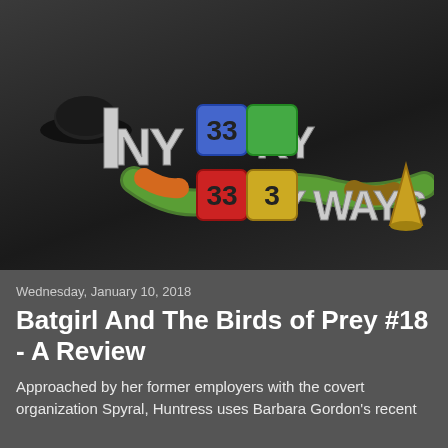[Figure (logo): Indy Geeky Geeky Ways blog logo featuring stylized text with colorful blocks and cartoon character elements on a dark background]
Wednesday, January 10, 2018
Batgirl And The Birds of Prey #18 - A Review
Approached by her former employers with the covert organization Spyral, Huntress uses Barbara Gordon's recent